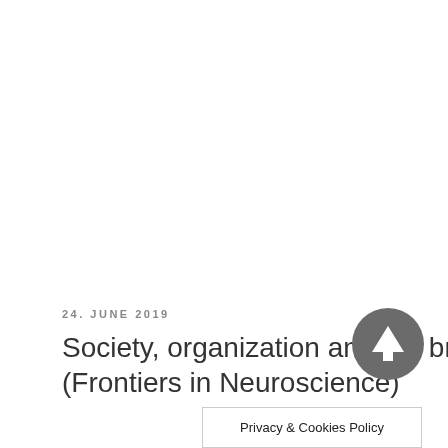24. JUNE 2019
Society, organization and the brain (Frontiers in Neuroscience)
[Figure (other): Circular grey button with white upward arrow icon]
Privacy & Cookies Policy